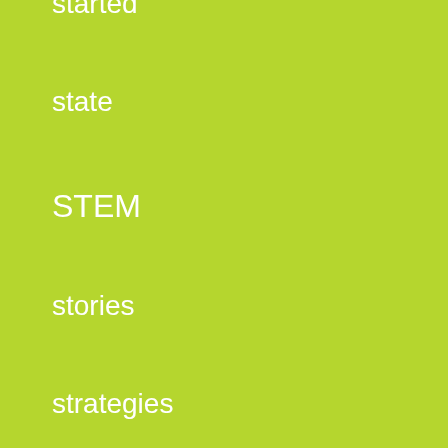started
state
STEM
stories
strategies
stress
structure
struggle
struggling learner